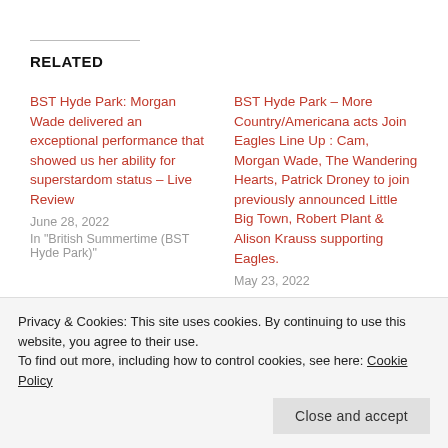RELATED
BST Hyde Park: Morgan Wade delivered an exceptional performance that showed us her ability for superstardom status – Live Review
June 28, 2022
In "British Summertime (BST Hyde Park)"
BST Hyde Park – More Country/Americana acts Join Eagles Line Up : Cam, Morgan Wade, The Wandering Hearts, Patrick Droney to join previously announced Little Big Town, Robert Plant & Alison Krauss supporting Eagles.
May 23, 2022
Privacy & Cookies: This site uses cookies. By continuing to use this website, you agree to their use.
To find out more, including how to control cookies, see here: Cookie Policy
Easy As Hello – From